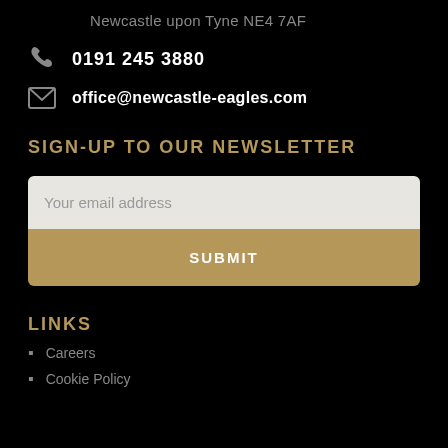Newcastle upon Tyne NE4 7AF
0191 245 3880
office@newcastle-eagles.com
SIGN-UP TO OUR NEWSLETTER
Your email address
SUBMIT
LINKS
Careers
Cookie Policy